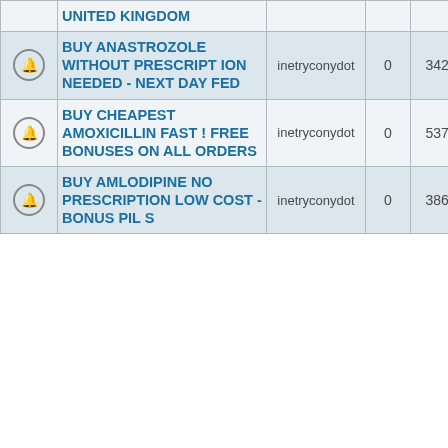|  | Title | User | Replies | Views | Date |
| --- | --- | --- | --- | --- | --- |
|  | UNITED KINGDOM |  |  |  |  |
| icon | BUY ANASTROZOLE WITHOUT PRESCRIPTION NEEDED - NEXT DAY FED | inetryconydot | 0 | 3422 | 2016 ine |
| icon | BUY CHEAPEST AMOXICILLIN FAST ! FREE BONUSES ON ALL ORDERS | inetryconydot | 0 | 5374 | 2016 ine |
| icon | BUY AMLODIPINE NO PRESCRIPTION LOW COST - BONUS PILL S | inetryconydot | 0 | 3867 | 2016 ine |